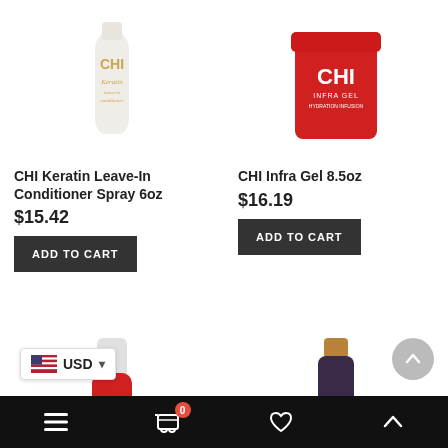[Figure (photo): CHI Keratin Leave-In Conditioner Spray 6oz product photo - white bottle]
[Figure (photo): CHI Infra Gel 8.5oz product photo - red jar]
CHI Keratin Leave-In Conditioner Spray 6oz
$15.42
ADD TO CART
CHI Infra Gel 8.5oz
$16.19
ADD TO CART
[Figure (photo): Partial red/white bottle product photo (bottom row left)]
[Figure (photo): Partial dark CHI bottle with tan cap (bottom row right)]
USD
Navigation bar with menu, cart (0), heart, and up icons